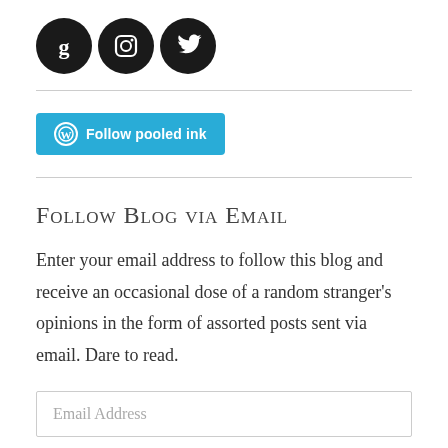[Figure (logo): Three black circular social media icons: Goodreads (g), Instagram (camera), Twitter (bird)]
[Figure (other): Blue WordPress Follow button labeled 'Follow pooled ink']
Follow Blog via Email
Enter your email address to follow this blog and receive an occasional dose of a random stranger's opinions in the form of assorted posts sent via email. Dare to read.
Email Address
FOLLOW